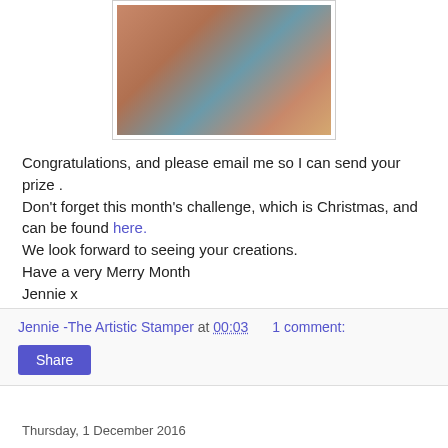[Figure (photo): A decorated craft box or ornament with blue lattice/web design on left and orange/red patterned panel on right, photographed on a light background]
Congratulations, and please email me so I can send your prize .
Don't forget this month's challenge, which is Christmas, and can be found here.
We look forward to seeing your creations.
Have a very Merry Month
Jennie x
Jennie -The Artistic Stamper at 00:03    1 comment:
Share
Thursday, 1 December 2016